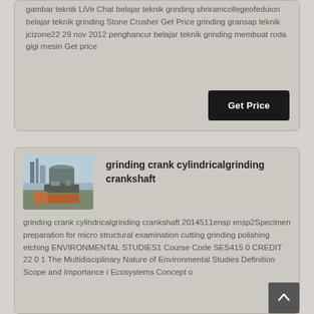gambar teknik LiVe Chat belajar teknik grinding shriramcollegeofeduion belajar teknik grinding Stone Crusher Get Price grinding gransap teknik jcizone22 29 nov 2012 penghancur belajar teknik grinding membuat roda gigi mesin Get price
Get Price
[Figure (photo): Industrial machinery / stone crusher equipment photo]
grinding crank cylindricalgrinding crankshaft
grinding crank cylindricalgrinding crankshaft 2014511ensp ensp2Specimen preparation for micro structural examination cutting grinding polishing etching ENVIRONMENTAL STUDIES1 Course Code SES415 0 CREDIT 22 0 1 The Multidisciplinary Nature of Environmental Studies Definition Scope and Importance i Ecosystems Concept o